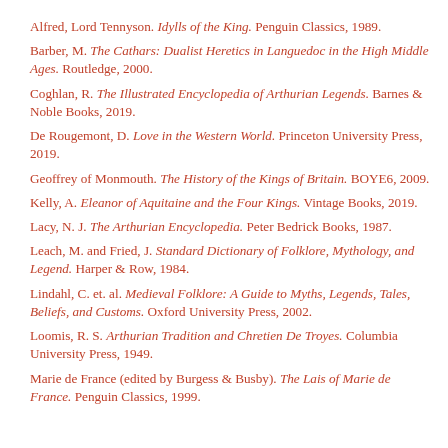Alfred, Lord Tennyson. Idylls of the King. Penguin Classics, 1989.
Barber, M. The Cathars: Dualist Heretics in Languedoc in the High Middle Ages. Routledge, 2000.
Coghlan, R. The Illustrated Encyclopedia of Arthurian Legends. Barnes & Noble Books, 2019.
De Rougemont, D. Love in the Western World. Princeton University Press, 2019.
Geoffrey of Monmouth. The History of the Kings of Britain. BOYE6, 2009.
Kelly, A. Eleanor of Aquitaine and the Four Kings. Vintage Books, 2019.
Lacy, N. J. The Arthurian Encyclopedia. Peter Bedrick Books, 1987.
Leach, M. and Fried, J. Standard Dictionary of Folklore, Mythology, and Legend. Harper & Row, 1984.
Lindahl, C. et. al. Medieval Folklore: A Guide to Myths, Legends, Tales, Beliefs, and Customs. Oxford University Press, 2002.
Loomis, R. S. Arthurian Tradition and Chretien De Troyes. Columbia University Press, 1949.
Marie de France (edited by Burgess & Busby). The Lais of Marie de France. Penguin Classics, 1999.